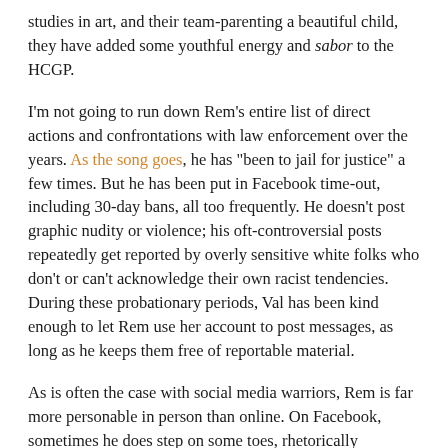studies in art, and their team-parenting a beautiful child, they have added some youthful energy and sabor to the HCGP.
I'm not going to run down Rem's entire list of direct actions and confrontations with law enforcement over the years. As the song goes, he has "been to jail for justice" a few times. But he has been put in Facebook time-out, including 30-day bans, all too frequently. He doesn't post graphic nudity or violence; his oft-controversial posts repeatedly get reported by overly sensitive white folks who don't or can't acknowledge their own racist tendencies. During these probationary periods, Val has been kind enough to let Rem use her account to post messages, as long as he keeps them free of reportable material.
As is often the case with social media warriors, Rem is far more personable in person than online. On Facebook, sometimes he does step on some toes, rhetorically speaking, in an effort to get well-intentioned white people thinking about the privilege behind their speech and actions. Sometimes this toe-stomping is called for, sometimes not so much; he is willing to admit when he has crossed a line...